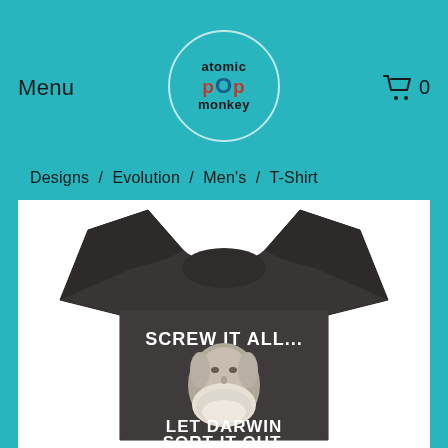Menu
[Figure (logo): Atomic Pop Monkey logo in a teal circle]
0
Designs / Evolution / Men's / T-Shirt
[Figure (photo): Dark heather t-shirt with text 'SCREW IT ALL...' above a portrait of Charles Darwin and 'LET DARWIN SORT IT OUT.' below]